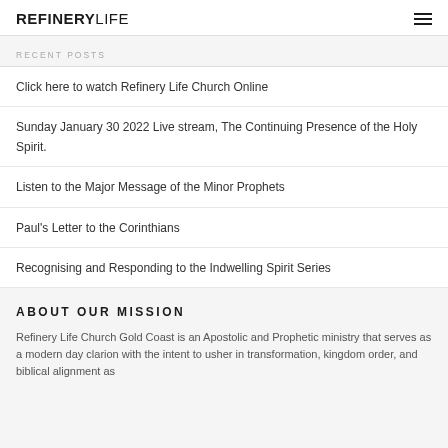REFINERYLIFE
RECENT POSTS
Click here to watch Refinery Life Church Online
Sunday January 30 2022 Live stream, The Continuing Presence of the Holy Spirit.
Listen to the Major Message of the Minor Prophets
Paul's Letter to the Corinthians
Recognising and Responding to the Indwelling Spirit Series
ABOUT OUR MISSION
Refinery Life Church Gold Coast is an Apostolic and Prophetic ministry that serves as a modern day clarion with the intent to usher in transformation, kingdom order, and biblical alignment as